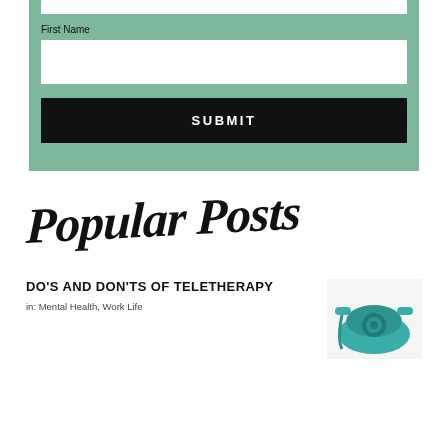[Figure (screenshot): A teal/green form box with a white input bar at top (partially visible), a 'First Name' label and white input field, and a black SUBMIT button]
Popular Posts
DO'S AND DON'TS OF TELETHERAPY
in: Mental Health, Work Life
[Figure (photo): A teal vintage rotary telephone on a white background, partially cropped at the right edge of the page]